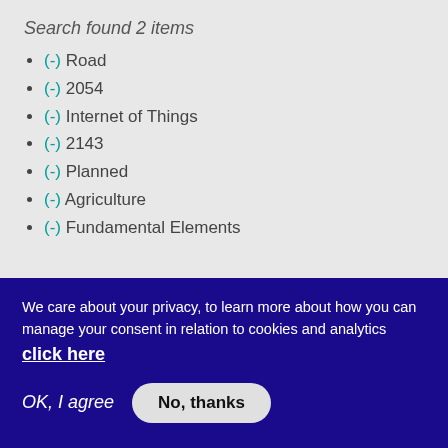Search found 2 items
(-) Road
(-) 2054
(-) Internet of Things
(-) 2143
(-) Planned
(-) Agriculture
(-) Fundamental Elements
Filter by type
We care about your privacy, to learn more about how you can manage your consent in relation to cookies and analytics click here
OK, I agree   No, thanks